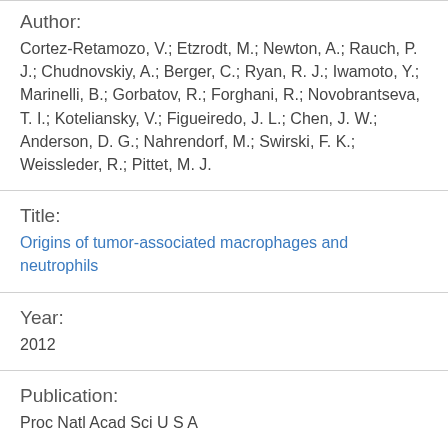Author: Cortez-Retamozo, V.; Etzrodt, M.; Newton, A.; Rauch, P. J.; Chudnovskiy, A.; Berger, C.; Ryan, R. J.; Iwamoto, Y.; Marinelli, B.; Gorbatov, R.; Forghani, R.; Novobrantseva, T. I.; Koteliansky, V.; Figueiredo, J. L.; Chen, J. W.; Anderson, D. G.; Nahrendorf, M.; Swirski, F. K.; Weissleder, R.; Pittet, M. J.
Title: Origins of tumor-associated macrophages and neutrophils
Year: 2012
Publication: Proc Natl Acad Sci U S A
Volume: 109